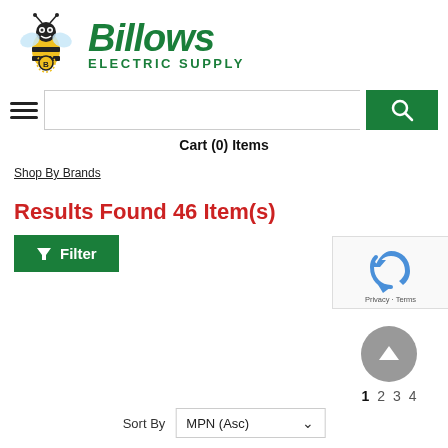[Figure (logo): Billows Electric Supply logo with animated bee mascot and green text]
[Figure (screenshot): Search bar with hamburger menu icon on left and green search button on right]
Cart (0) Items
Shop By Brands
Results Found 46 Item(s)
[Figure (screenshot): Green Filter button with funnel icon]
[Figure (screenshot): reCAPTCHA widget with Privacy and Terms text]
[Figure (screenshot): Grey scroll-to-top circle button with up arrow, pagination showing 1 2 3 4]
Sort By  MPN (Asc)